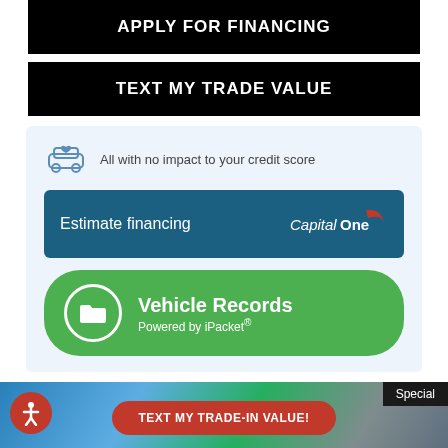APPLY FOR FINANCING
TEXT MY TRADE VALUE
All with no impact to your credit score
Estimate financing
[Figure (logo): Capital One logo in white on dark teal background]
[Figure (infographic): Vehicle Records Powered by iPacket green button with folder icon]
[Figure (screenshot): Bottom of webpage with photo background showing TEXT MY TRADE-IN VALUE button, Special badge, accessibility icon, Chat Live and Text Us bottom navigation buttons, and Alerts icon]
Special
TEXT MY TRADE-IN VALUE!
Alerts
Chat Live
Text Us